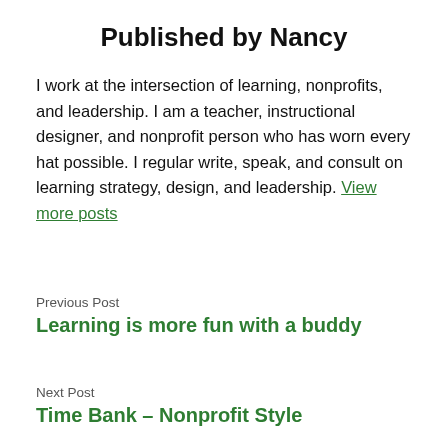Published by Nancy
I work at the intersection of learning, nonprofits, and leadership. I am a teacher, instructional designer, and nonprofit person who has worn every hat possible. I regular write, speak, and consult on learning strategy, design, and leadership. View more posts
Previous Post
Learning is more fun with a buddy
Next Post
Time Bank – Nonprofit Style